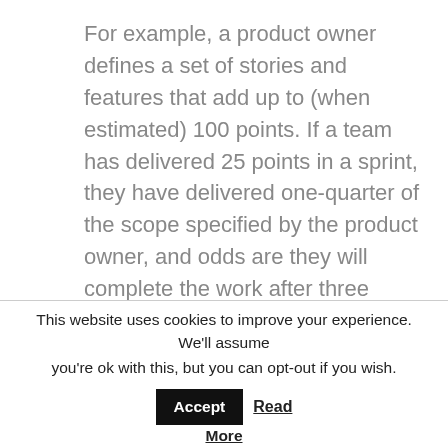For example, a product owner defines a set of stories and features that add up to (when estimated) 100 points. If a team has delivered 25 points in a sprint, they have delivered one-quarter of the scope specified by the product owner, and odds are they will complete the work after three more sprints, assuming their velocity stays constant.
What if after delivering those stories,
This website uses cookies to improve your experience. We'll assume you're ok with this, but you can opt-out if you wish. Accept Read More